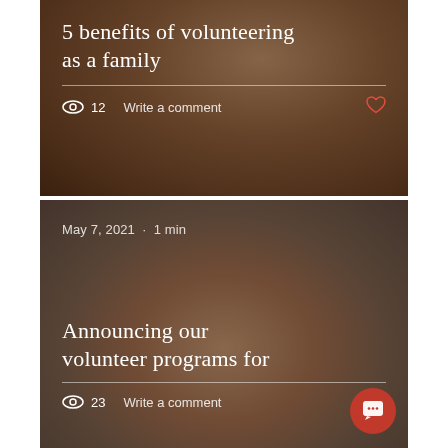[Figure (photo): Photo of people volunteering, packing boxes together, with warm brown tones]
5 benefits of volunteering as a family
12   Write a comment
[Figure (photo): Photo of multiple hands stacked together in a team gesture, warm skin tones]
May 7, 2021 · 1 min
Announcing our volunteer programs for
23   Write a comment